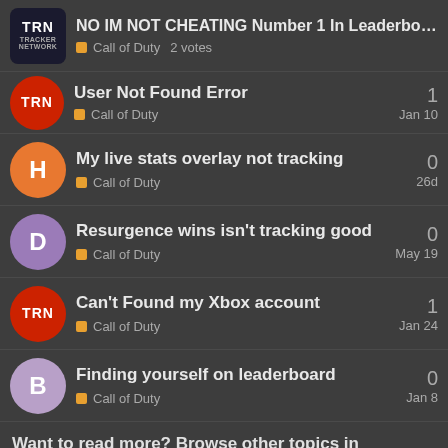NO IM NOT CHEATING Number 1 In Leaderboard... — Call of Duty  2 votes
User Not Found Error — Call of Duty — 1 — Jan 10
My live stats overlay not tracking — Call of Duty — 0 — 26d
Resurgence wins isn't tracking good — Call of Duty — 0 — May 19
Can't Found my Xbox account — Call of Duty — 1 — Jan 24
Finding yourself on leaderboard — Call of Duty — 0 — Jan 8
Want to read more? Browse other topics in Call of Duty or view latest topics.